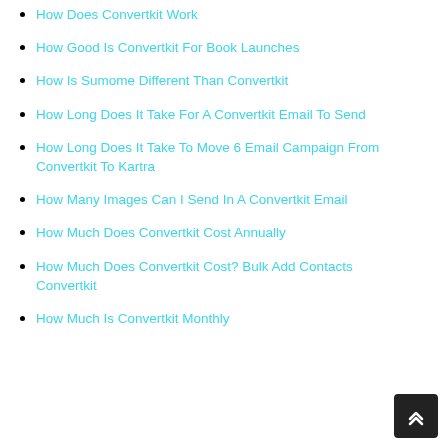How Does Convertkit Work
How Good Is Convertkit For Book Launches
How Is Sumome Different Than Convertkit
How Long Does It Take For A Convertkit Email To Send
How Long Does It Take To Move 6 Email Campaign From Convertkit To Kartra
How Many Images Can I Send In A Convertkit Email
How Much Does Convertkit Cost Annually
How Much Does Convertkit Cost? Bulk Add Contacts Convertkit
How Much Is Convertkit Monthly